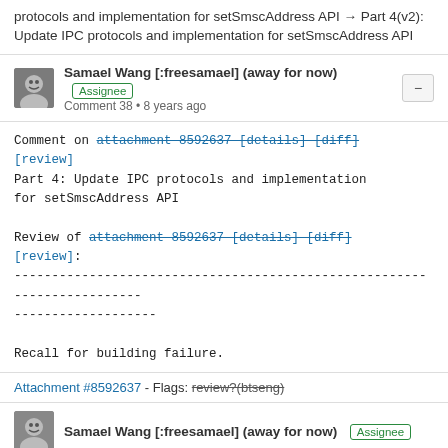protocols and implementation for setSmscAddress API → Part 4(v2): Update IPC protocols and implementation for setSmscAddress API
Samael Wang [:freesamael] (away for now) Assignee
Comment 38 • 8 years ago
Comment on attachment 8592637 [details] [diff] [review]
Part 4: Update IPC protocols and implementation for setSmscAddress API

Review of attachment 8592637 [details] [diff] [review]:
-----------------------------------------------------------------------

Recall for building failure.
Attachment #8592637 - Flags: review?(btseng)
Samael Wang [:freesamael] (away for now) Assignee